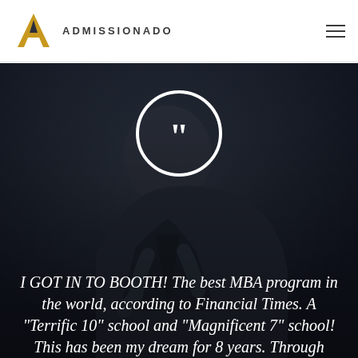[Figure (logo): Admissionado logo with golden A lettermark and text ADMISSIONADO]
[Figure (photo): Dark moody photo of a young man looking upward, with a white circle containing quotation marks overlay, and italic white testimonial text below reading: I GOT IN TO BOOTH! The best MBA program in the world, according to Financial Times. A "Terrific 10" school and "Magnificent 7" school! This has been my dream for 8 years. Through]